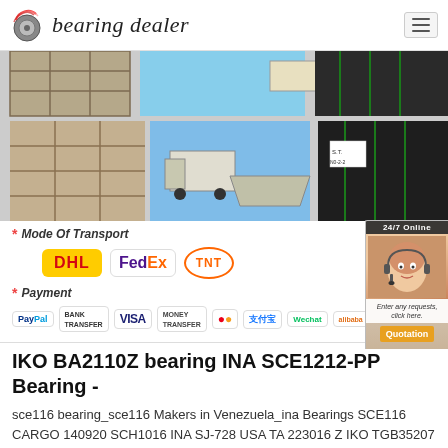bearing dealer
[Figure (photo): Collage of shipping/warehouse images: packaged goods on pallets, shipping truck and container vessel, labeled black-wrapped cargo packages]
* Mode Of Transport
[Figure (logo): Courier service logos: DHL, FedEx, TNT]
* Payment
[Figure (logo): Payment method logos: PayPal, Bank Transfer, VISA, Money Transfer, Mastercard, Alipay, Wechat, Alibaba]
IKO BA2110Z bearing INA SCE1212-PP Bearing -
sce116 bearing_sce116 Makers in Venezuela_ina Bearings SCE116 CARGO 140920 SCH1016 INA SJ-728 USA TA 223016 Z IKO TGB35207 B2416 SCE 2416 INA B2610A B2812 B2816 BA2110Z BB 50342 BCH.If you want to know ina sce116 bearing's Makers